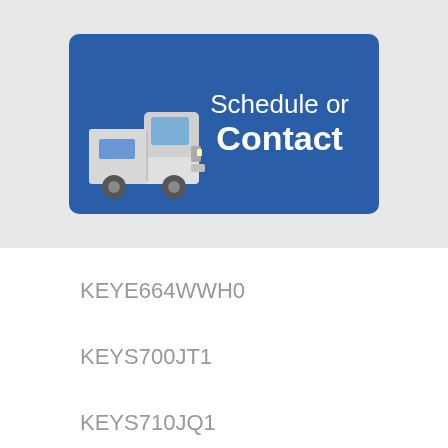[Figure (illustration): Blue rounded rectangle button with a delivery van illustration on the left and text 'Schedule or Contact' in white on the right, on a light grey banner background.]
KEYE664WWH0
KEYS700JT1
KEYS710JQ1
KEYS710LQ0
KEYS710LQ1